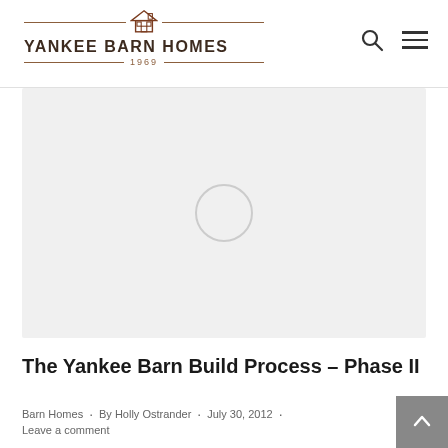YANKEE BARN HOMES 1969
[Figure (photo): Hero image area with loading spinner circle on light gray background]
The Yankee Barn Build Process – Phase II
Barn Homes · By Holly Ostrander · July 30, 2012 ·
Leave a comment